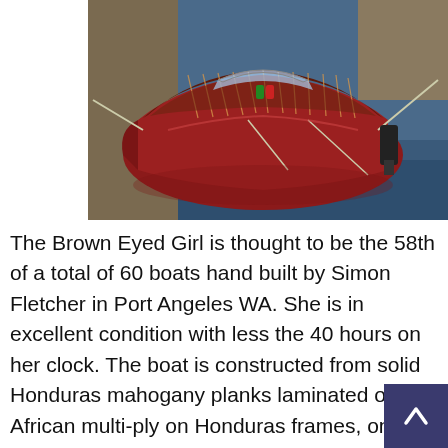[Figure (photo): A classic wooden boat named Brown Eyed Girl moored at a dock on water. The boat has a mahogany-planked deck with white stripe inlays, a red hull, and an outboard motor. Ropes are visible mooring the vessel.]
The Brown Eyed Girl is thought to be the 58th of a total of 60 boats hand built by Simon Fletcher in Port Angeles WA. She is in excellent condition with less the 40 hours on her clock. The boat is constructed from solid Honduras mahogany planks laminated over African multi-ply on Honduras frames, on white oak chines and keel. She is made with composite wood/epoxy construction with epoxy-fiberglass sheathing on bottom. All fastenings are stainless and silicon bronze was used with the polyurethane glues.